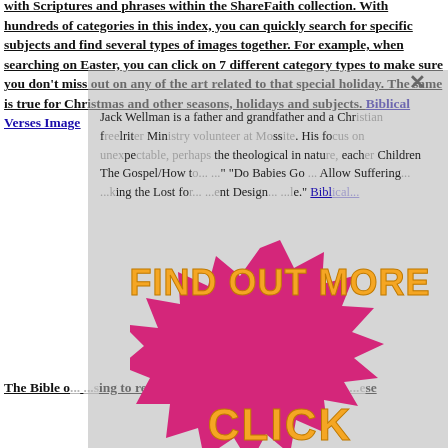with Scriptures and phrases within the ShareFaith collection. With hundreds of categories in this index, you can quickly search for specific subjects and find several types of images together. For example, when searching on Easter, you can click on 7 different category types to make sure you don't miss out on any of the art related to that special holiday. The same is true for Christmas and other seasons, holidays and subjects. Biblical Verses Image
[Figure (other): A popup/modal overlay with a large pink and orange starburst badge saying 'FIND OUT MORE' and 'CLICK HERE', overlaying text about Jack Wellman. A close (X) button is visible at top right of the overlay.]
Jack Wellman is a father and grandfather and a Christian. He is a freelance writer and a Prison Ministry volunteer, at Ater Memorial website. His focus is unexplainable, perhaps because the theological in nature, such as: Children The Gospel/How to Teach... "Do Babies Go..." "Allow Suffering... ...king the Lost fo... ...ent Design... ...e." Bibl...
The Bible o... ...sing to read and m... ...es for encourageme... ...ese